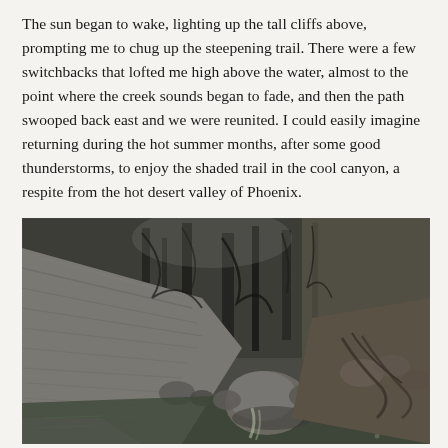The sun began to wake, lighting up the tall cliffs above, prompting me to chug up the steepening trail. There were a few switchbacks that lofted me high above the water, almost to the point where the creek sounds began to fade, and then the path swooped back east and we were reunited. I could easily imagine returning during the hot summer months, after some good thunderstorms, to enjoy the shaded trail in the cool canyon, a respite from the hot desert valley of Phoenix.
[Figure (photo): A photograph of a rocky canyon creek scene. On the left, smooth striated granite rock faces slope down toward a pool of still water. In the center background, bare-branched trees and shrubs fill the canyon. A large rounded boulder sits in the middle of the stream. On the right bank, rocks and exposed tree roots are visible, with more rocky terrain. The lighting is dim and cool, giving an overcast atmosphere.]